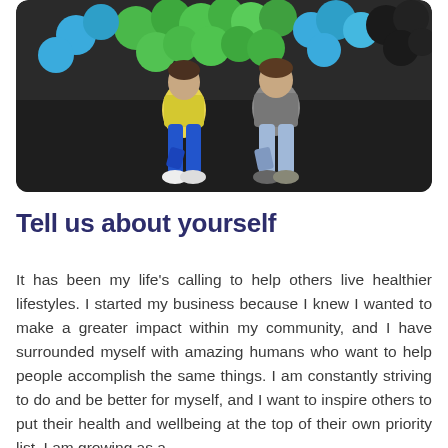[Figure (photo): Two women posing together in athletic wear (one in yellow top and blue leggings, one in gray top and light blue leggings) in a gym setting with colorful balloons (green, blue, black) in the background.]
Tell us about yourself
It has been my life's calling to help others live healthier lifestyles. I started my business because I knew I wanted to make a greater impact within my community, and I have surrounded myself with amazing humans who want to help people accomplish the same things. I am constantly striving to do and be better for myself, and I want to inspire others to put their health and wellbeing at the top of their own priority list. I am growing as a